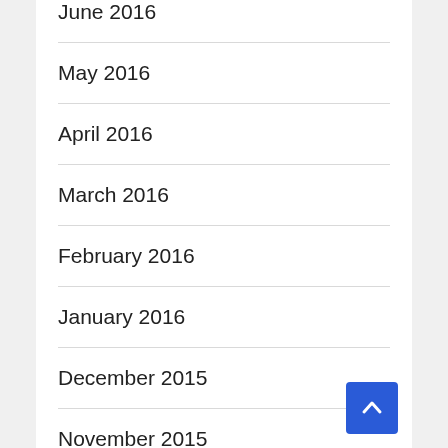June 2016
May 2016
April 2016
March 2016
February 2016
January 2016
December 2015
November 2015
October 2015